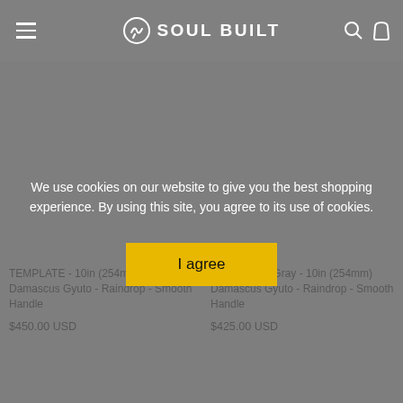SOUL BUILT
$150.00 USD    $125.00 USD
[Figure (photo): Product image area for TEMPLATE - 10in (254mm) Damascus Gyuto - Raindrop - Smooth Handle (white/blank)]
TEMPLATE - 10in (254mm) Damascus Gyuto - Raindrop - Smooth Handle
$450.00 USD
[Figure (photo): Product image area for A Clockwork Gray - 10in (254mm) Damascus Gyuto - Raindrop - Smooth Handle (white/blank)]
A Clockwork Gray - 10in (254mm) Damascus Gyuto - Raindrop - Smooth Handle
$425.00 USD
We use cookies on our website to give you the best shopping experience. By using this site, you agree to its use of cookies.
I agree